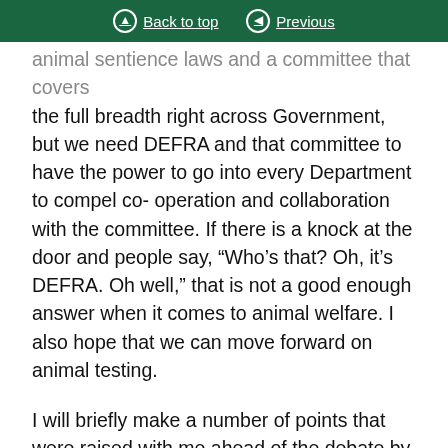Back to top | Previous
animal sentience laws and a committee that covers the full breadth right across Government, but we need DEFRA and that committee to have the power to go into every Department to compel co-operation and collaboration with the committee. If there is a knock at the door and people say, “Who’s that? Oh, it’s DEFRA. Oh well,” that is not a good enough answer when it comes to animal welfare. I also hope that we can move forward on animal testing.
I will briefly make a number of points that were raised with me ahead of the debate by people in Plymouth. One is about animal testing and Brexit. A large number of media articles suggest that our departure from the European Union has in some way